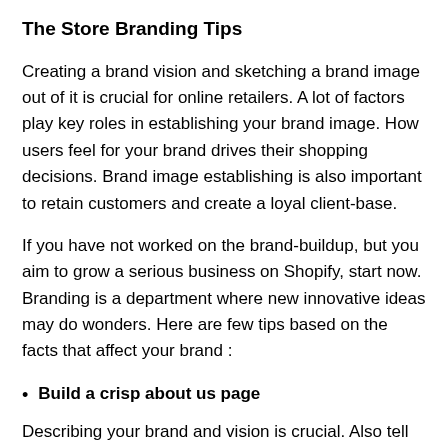The Store Branding Tips
Creating a brand vision and sketching a brand image out of it is crucial for online retailers. A lot of factors play key roles in establishing your brand image. How users feel for your brand drives their shopping decisions. Brand image establishing is also important to retain customers and create a loyal client-base.
If you have not worked on the brand-buildup, but you aim to grow a serious business on Shopify, start now. Branding is a department where new innovative ideas may do wonders. Here are few tips based on the facts that affect your brand :
Build a crisp about us page
Describing your brand and vision is crucial. Also tell